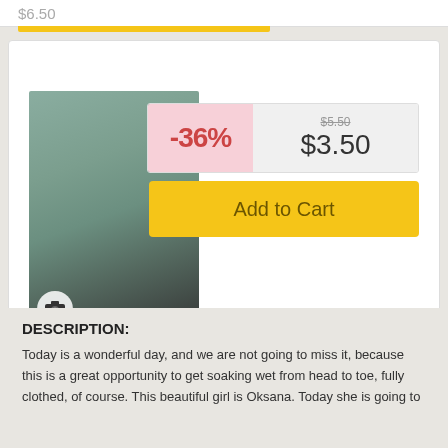$6.50
[Figure (photo): Blonde woman in teal sweater sitting outdoors under bridge]
-36%  $5.50  $3.50
Add to Cart
PHOTO {preview}
Quantity: 125 pcs
Quality: High-Definition (1280x720)
Content Type: Photo (JPEG)
Package: ZIP-archive
Volume: 52 Mb
DESCRIPTION:
Today is a wonderful day, and we are not going to miss it, because this is a great opportunity to get soaking wet from head to toe, fully clothed, of course. This beautiful girl is Oksana. Today she is going to